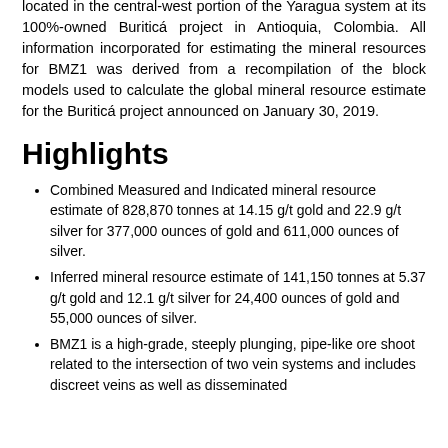located in the central-west portion of the Yaragua system at its 100%-owned Buriticá project in Antioquia, Colombia. All information incorporated for estimating the mineral resources for BMZ1 was derived from a recompilation of the block models used to calculate the global mineral resource estimate for the Buriticá project announced on January 30, 2019.
Highlights
Combined Measured and Indicated mineral resource estimate of 828,870 tonnes at 14.15 g/t gold and 22.9 g/t silver for 377,000 ounces of gold and 611,000 ounces of silver.
Inferred mineral resource estimate of 141,150 tonnes at 5.37 g/t gold and 12.1 g/t silver for 24,400 ounces of gold and 55,000 ounces of silver.
BMZ1 is a high-grade, steeply plunging, pipe-like ore shoot related to the intersection of two vein systems and includes discreet veins as well as disseminated